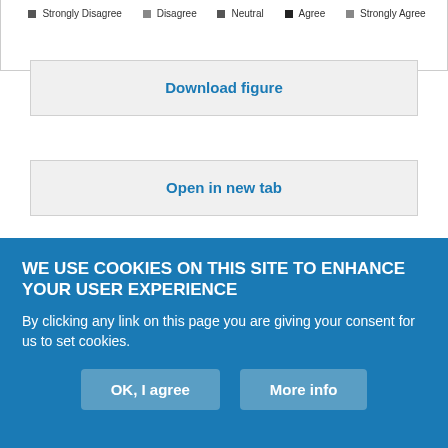[Figure (other): Legend bar showing: Strongly Disagree, Disagree, Neutral, Agree, Strongly Agree with colored dots]
Download figure
Open in new tab
Download powerpoint
Figure 1.
Post-Survey of Students' Perceptions of the Debate Exercise.
There was lack of consensus among students as to whether there
WE USE COOKIES ON THIS SITE TO ENHANCE YOUR USER EXPERIENCE
By clicking any link on this page you are giving your consent for us to set cookies.
OK, I agree
More info